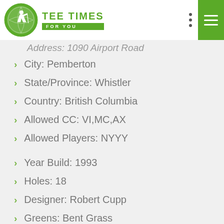TEE TIMES FOR YOU
Address: 1090 Airport Road
City: Pemberton
State/Province: Whistler
Country: British Columbia
Allowed CC: VI,MC,AX
Allowed Players: NYYY
Year Build: 1993
Holes: 18
Designer: Robert Cupp
Greens: Bent Grass
Dresscode: No Denim. Collared Shirt and